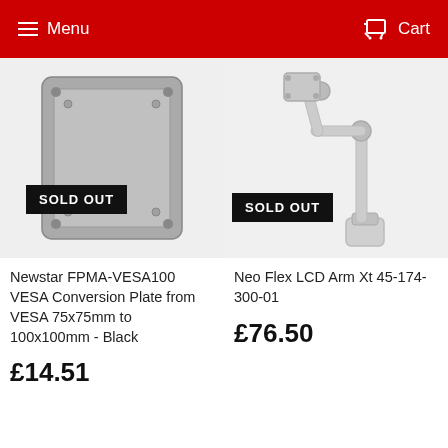Menu  Cart
[Figure (photo): Newstar FPMA-VESA100 conversion plate, grey, with SOLD OUT badge]
[Figure (photo): Neo Flex LCD Arm Xt monitor arm, white/silver, with SOLD OUT badge]
Newstar FPMA-VESA100 VESA Conversion Plate from VESA 75x75mm to 100x100mm - Black
£14.51
Neo Flex LCD Arm Xt 45-174-300-01
£76.50